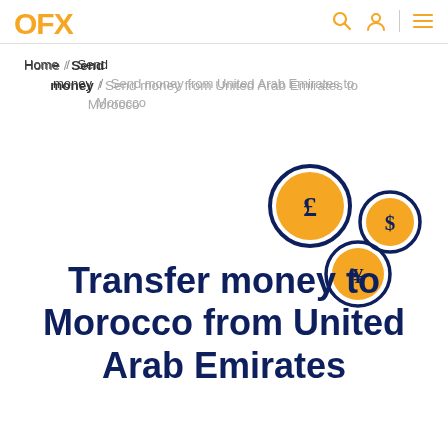OFX
Home / Send money / Send money from United Arab Emirates to Morocco
[Figure (illustration): Three currency coin icons with dark navy borders and orange fills: a large pound sterling (£) coin on the left, a smaller US dollar ($) coin to the upper right, and a yen (¥) coin below the dollar coin.]
Transfer money to Morocco from United Arab Emirates